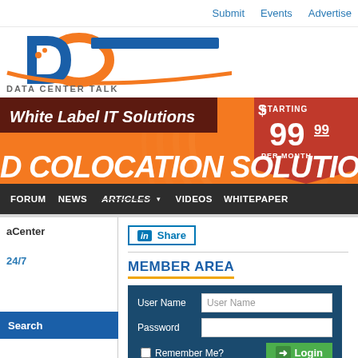Submit   Events   Advertise
[Figure (logo): Data Center Talk (DCT) logo with stylized blue and orange graphic and text 'DATA CENTER TALK']
[Figure (infographic): Banner advertisement for White Label IT Solutions / Dedicated Colocation Solutions starting at $99.99 per month on orange background]
FORUM   NEWS   ARTICLES   VIDEOS   WHITEPAPER
aCenter
24/7
Search
[Figure (other): LinkedIn Share button]
MEMBER AREA
User Name
Password
Remember Me?
Login